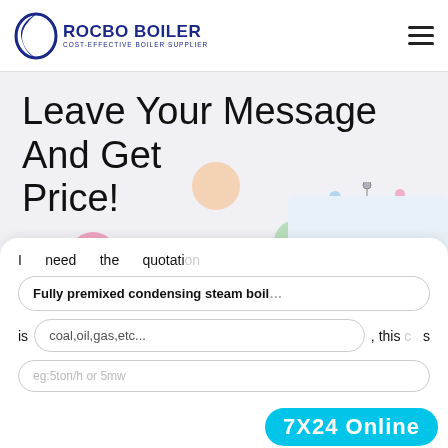[Figure (logo): Rocbo Boiler logo with blue crescent and text 'ROCBO BOILER / COST-EFFECTIVE BOILER SUPPLIER']
Leave Your Message And Get Price!
[Figure (illustration): 10% DISCOUNT badge with colorful balloons decoration]
I need the quotation of Fully premixed condensing steam boiler, the fuel is coal,oil,gas,etc..., this capacity is eg:5ton/h or 5mw
[Figure (photo): Customer service representative with headset smiling]
7X24 Online